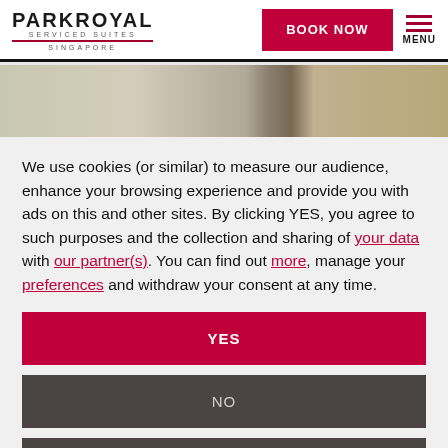[Figure (logo): PARKROYAL SERVICED SUITES SINGAPORE logo with red underline]
[Figure (photo): Hotel room interior photo strip showing bathroom/room elements]
We use cookies (or similar) to measure our audience, enhance your browsing experience and provide you with ads on this and other sites. By clicking YES, you agree to such purposes and the collection and sharing of your data with our partner(s). You can find out more, manage your preferences and withdraw your consent at any time.
YES
NO
MANAGE COOKIE PREFERENCES